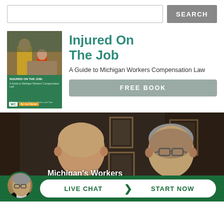[Figure (screenshot): Search bar with text input field and gray SEARCH button]
[Figure (photo): Book cover for 'Injured On The Job: A Guide to Michigan Workers Compensation Law' showing construction workers on the cover, with WC badge and author name]
Injured On The Job
A Guide to Michigan Workers Compensation Law
FREE BOOK
[Figure (photo): Two professional attorneys in dark suits standing in an office with framed certificates/diplomas on the wall behind them. Text overlay reads: Michigan's Workers Compensation Attorneys Answer]
Michigan's Workers Compensation Attorneys Answer
LIVE CHAT  START NOW